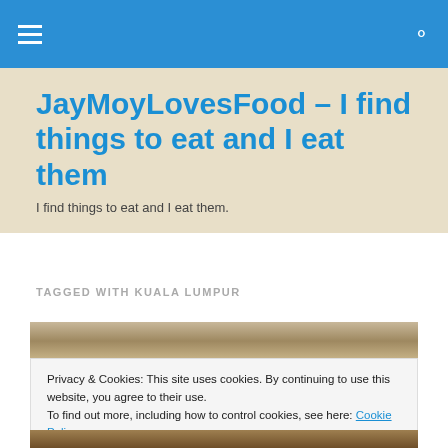JayMoyLovesFood – I find things to eat and I eat them
JayMoyLovesFood – I find things to eat and I eat them
I find things to eat and I eat them.
TAGGED WITH KUALA LUMPUR
[Figure (photo): Food photo showing dishes on a table]
Privacy & Cookies: This site uses cookies. By continuing to use this website, you agree to their use.
To find out more, including how to control cookies, see here: Cookie Policy
[Figure (photo): Food photo at bottom of page]